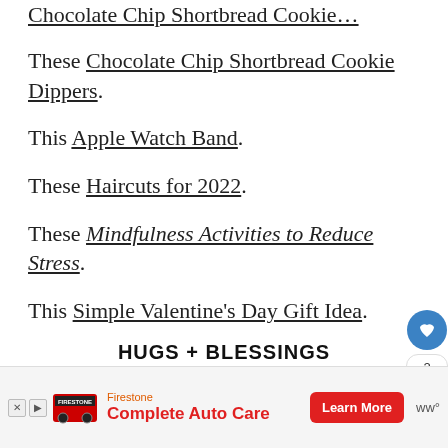These Chocolate Chip Shortbread Cookie Dippers.
This Apple Watch Band.
These Haircuts for 2022.
These Mindfulness Activities to Reduce Stress.
This Simple Valentine's Day Gift Idea.
HUGS + BLESSINGS
[Figure (other): Advertisement banner for Firestone Complete Auto Care with Learn More button]